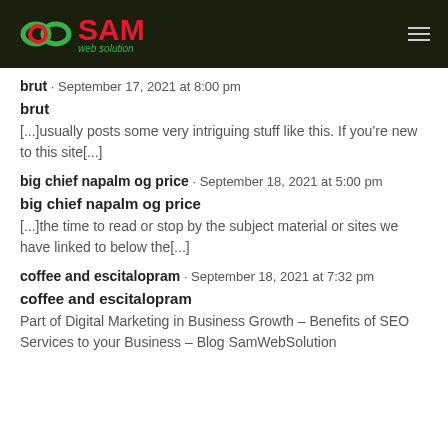SAM web solution
brut · September 17, 2021 at 8:00 pm
brut
[...]usually posts some very intriguing stuff like this. If you’re new to this site[...]
big chief napalm og price · September 18, 2021 at 5:00 pm
big chief napalm og price
[...]the time to read or stop by the subject material or sites we have linked to below the[...]
coffee and escitalopram · September 18, 2021 at 7:32 pm
coffee and escitalopram
Part of Digital Marketing in Business Growth – Benefits of SEO Services to your Business – Blog SamWebSolution